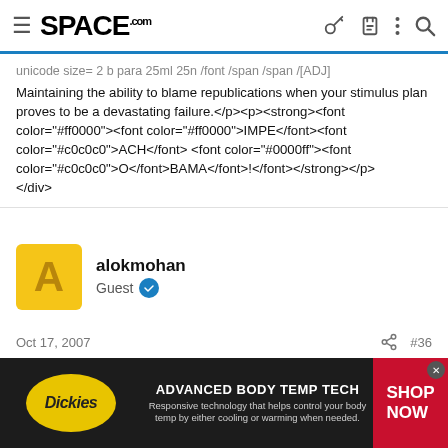SPACE.com
unicode size= 2 b para 25ml 25n /font /span /span /[ADJ] Maintaining the ability to blame republications when your stimulus plan proves to be a devastating failure.</p><p><strong><font color="#ff0000"><font color="#ff0000">IMPE</font><font color="#c0c0c0">ACH</font> <font color="#0000ff"><font color="#c0c0c0">O</font>BAMA</font>!</font></strong></p></div>
alokmohan
Guest
Oct 17, 2007
#36
[Figure (screenshot): Dickies advertisement banner: ADVANCED BODY TEMP TECH - Responsive technology that helps control your body temp by either cooling or warming when needed. SHOP NOW]